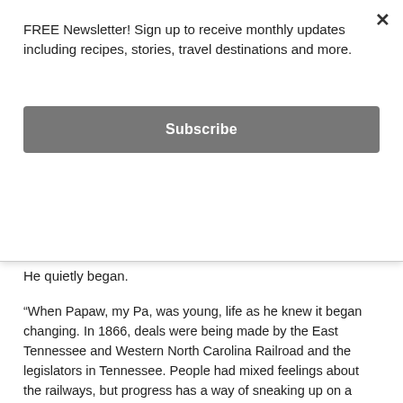FREE Newsletter! Sign up to receive monthly updates including recipes, stories, travel destinations and more.
Subscribe
He quietly began.
“When Papaw, my Pa, was young, life as he knew it began changing. In 1866, deals were being made by the East Tennessee and Western North Carolina Railroad and the legislators in Tennessee. People had mixed feelings about the railways, but progress has a way of sneaking up on a body. By the time Pa was in his 30s, they began operating a 32-mile rail service that took iron from Cranberry, North Carolina, all the way up to the foundries in Johnson County. Through the next several years, more track were added, extendin’ the rails up into Boone, North Carolina.”
Trina, his second eldest, interrupted by raising her hand in